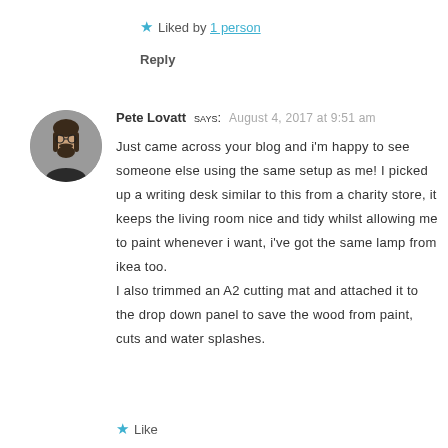★ Liked by 1 person
Reply
[Figure (photo): Circular avatar photo of Pete Lovatt, a man with long dark hair and a beard wearing glasses]
Pete Lovatt says: August 4, 2017 at 9:51 am
Just came across your blog and i'm happy to see someone else using the same setup as me! I picked up a writing desk similar to this from a charity store, it keeps the living room nice and tidy whilst allowing me to paint whenever i want, i've got the same lamp from ikea too.
I also trimmed an A2 cutting mat and attached it to the drop down panel to save the wood from paint, cuts and water splashes.
★ Like